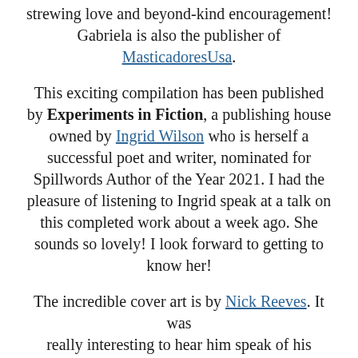strewing love and beyond-kind encouragement! Gabriela is also the publisher of MasticadoresUsa.
This exciting compilation has been published by Experiments in Fiction, a publishing house owned by Ingrid Wilson who is herself a successful poet and writer, nominated for Spillwords Author of the Year 2021. I had the pleasure of listening to Ingrid speak at a talk on this completed work about a week ago. She sounds so lovely! I look forward to getting to know her!
The incredible cover art is by Nick Reeves. It was really interesting to hear him speak of his process and it will be fun getting to know him as well!